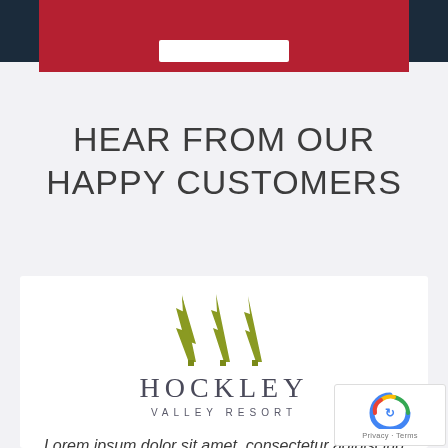[Figure (other): Dark navy header bar with centered red banner containing a white button]
HEAR FROM OUR HAPPY CUSTOMERS
[Figure (logo): Hockley Valley Resort logo with three olive-green pine tree icons above the text HOCKLEY VALLEY RESORT]
Lorem ipsum dolor sit amet, consectetur adipiscing elit, sed